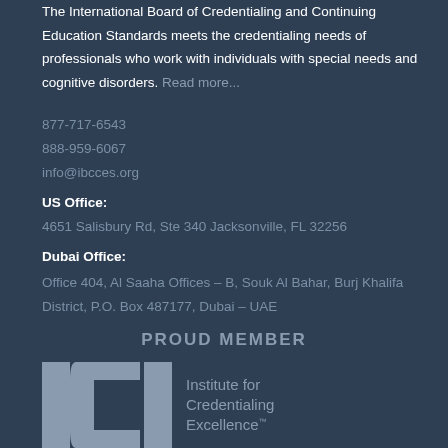The International Board of Credentialing and Continuing Education Standards meets the credentialing needs of professionals who work with individuals with special needs and cognitive disorders. Read more...
877-717-6543
888-959-6067
info@ibcces.org
US Office:
4651 Salisbury Rd, Ste 340 Jacksonville, FL 32256
Dubai Office:
Office 404, Al Saaha Offices – B, Souk Al Bahar, Burj Khalifa District, P.O. Box 487177, Dubai – UAE
PROUD MEMBER
[Figure (logo): ICE – Institute for Credentialing Excellence logo in gray on dark navy background]